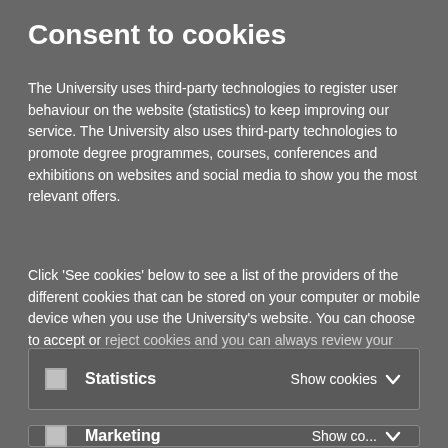Consent to cookies
The University uses third-party technologies to register user behaviour on the website (statistics) to keep improving our service. The University also uses third-party technologies to promote degree programmes, courses, conferences and exhibitions on websites and social media to show you the most relevant offers.
Click 'See cookies' below to see a list of the providers of the different cookies that can be stored on your computer or mobile device when you use the University's website. You can choose to accept or reject cookies and you can always review your consent
| Checkbox | Category | Action |
| --- | --- | --- |
| ☐ | Statistics | Show cookies |
| Checkbox | Category | Action |
| --- | --- | --- |
| ☐ | Marketing | Show cookies |